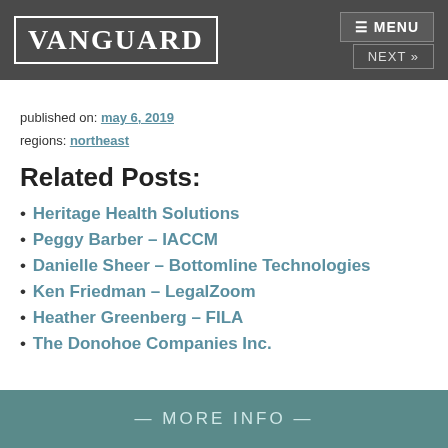VANGUARD   MENU   NEXT »
published on: may 6, 2019
regions: northeast
Related Posts:
Heritage Health Solutions
Peggy Barber – IACCM
Danielle Sheer – Bottomline Technologies
Ken Friedman – LegalZoom
Heather Greenberg – FILA
The Donohoe Companies Inc.
— MORE INFO —